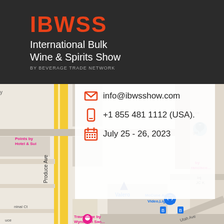[Figure (logo): IBWSS logo with red bold text 'IBWSS', white subtitle 'International Bulk Wine & Spirits Show', and grey tagline 'by BEVERAGE TRADE NETWORK' on dark background]
[Figure (map): Google Maps screenshot showing area near Produce Ave, San Francisco with points of interest including Valero, McCune Audio Video Lighting, Travelodge by Wyndham San Francisco, Utah Ave. Shows partial street map.]
info@ibwsshow.com
+1 855 481 1112 (USA).
July 25 - 26, 2023